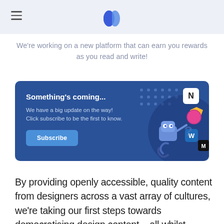We're working on a new platform that can earn you rewards as you read and write!
[Figure (infographic): Blue promotional banner with text 'Something's coming...' and 'We have a big update on the way! Click subscribe to be the first to know.' with a blue Subscribe button, and an illustrated robot character holding app icons on the right side.]
By providing openly accessible, quality content from designers across a vast array of cultures, we're taking our first steps towards democratising design content – all whilst